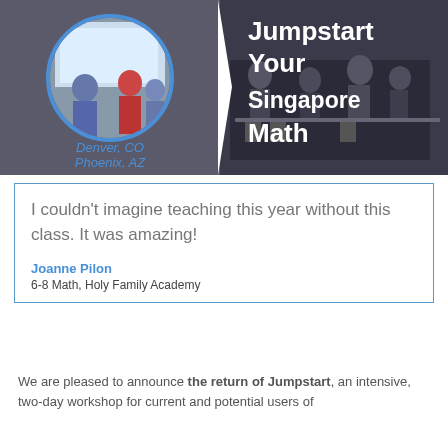[Figure (photo): Promotional banner for 'Jumpstart Your Singapore Math' workshop. Left half shows a circular-framed photo of people in a classroom/workshop setting with text 'Denver, CO / Phoenix, AZ' in blue italic. Right half shows a photo of people at tables with large white bold text 'Jumpstart Your Singapore Math'.]
I couldn't imagine teaching this year without this class. It was amazing!

Joanne Pilon
6-8 Math, Holy Family Academy
We are pleased to announce the return of Jumpstart, an intensive, two-day workshop for current and potential users of